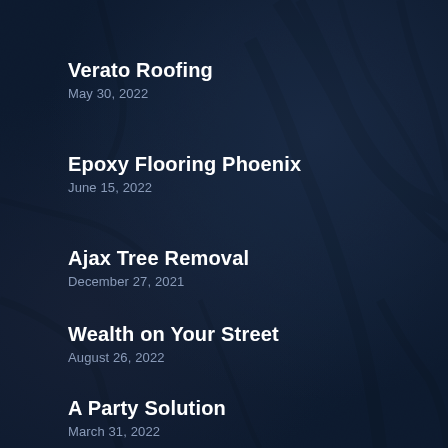Verato Roofing
May 30, 2022
Epoxy Flooring Phoenix
June 15, 2022
Ajax Tree Removal
December 27, 2021
Wealth on Your Street
August 26, 2022
A Party Solution
March 31, 2022